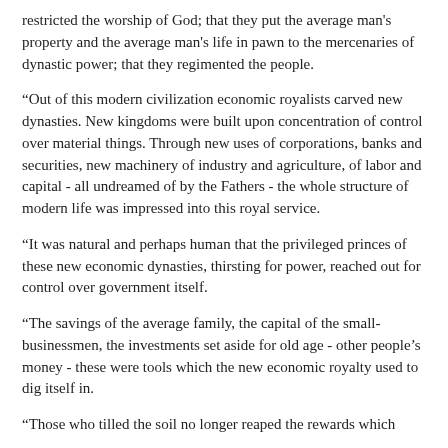restricted the worship of God; that they put the average man's property and the average man's life in pawn to the mercenaries of dynastic power; that they regimented the people.
“Out of this modern civilization economic royalists carved new dynasties. New kingdoms were built upon concentration of control over material things. Through new uses of corporations, banks and securities, new machinery of industry and agriculture, of labor and capital - all undreamed of by the Fathers - the whole structure of modern life was impressed into this royal service.
“It was natural and perhaps human that the privileged princes of these new economic dynasties, thirsting for power, reached out for control over government itself.
“The savings of the average family, the capital of the small-businessmen, the investments set aside for old age - other people’s money - these were tools which the new economic royalty used to dig itself in.
“Those who tilled the soil no longer reaped the rewards which were their right. They called some of that acreage and could b…